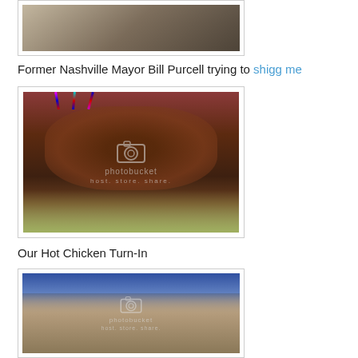[Figure (photo): Top portion of a photo showing people at an outdoor event, cropped at top of page]
Former Nashville Mayor Bill Purcell trying to shigg me
[Figure (photo): A platter of hot chicken pieces decorated with red and blue sparkler decorations, chili peppers, and greens, with a Photobucket watermark]
Our Hot Chicken Turn-In
[Figure (photo): People gathered under a tent at an outdoor event, with trophies visible on the left, and a Photobucket watermark]